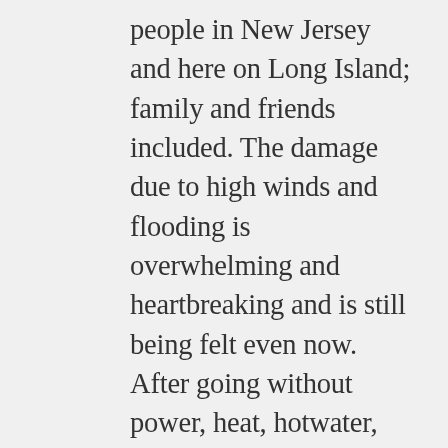people in New Jersey and here on Long Island; family and friends included. The damage due to high winds and flooding is overwhelming and heartbreaking and is still being felt even now. After going without power, heat, hotwater, phone/internet services for 9 days, it makes one realize the everyday comforts that we all take for granted. I feel very fortunate as there are still those without electricity. Many have lost their homes and others were evacuated with no chance of returning until after Thanksgiving, some not until Christmas. I continue to pray for those who were affected by this disaster. Anyway I just wanted to let you know I still to continue to read your blog. You have had